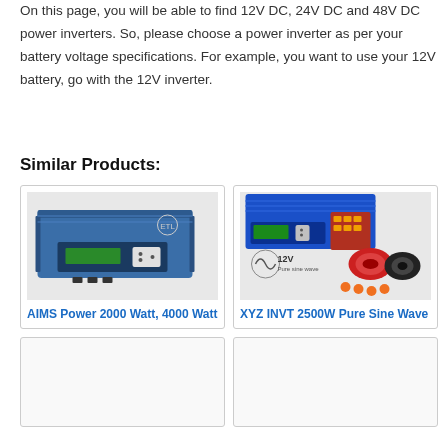On this page, you will be able to find 12V DC, 24V DC and 48V DC power inverters. So, please choose a power inverter as per your battery voltage specifications. For example, you want to use your 12V battery, go with the 12V inverter.
Similar Products:
[Figure (photo): AIMS Power 2000 Watt 4000 Watt power inverter product image, blue metal housing with ETL certification mark]
AIMS Power 2000 Watt, 4000 Watt
[Figure (photo): XYZ INVT 2500W Pure Sine Wave power inverter product image, blue device with 12V label and accessories]
XYZ INVT 2500W Pure Sine Wave